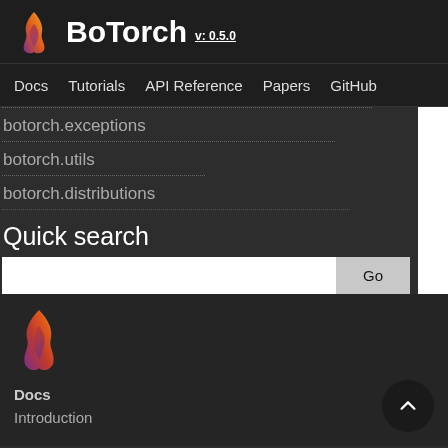BoTorch v: 0.5.0 — Docs | Tutorials | API Reference | Papers | GitHub
botorch.exceptions
botorch.utils
botorch.distributions
Quick search
[Figure (logo): BoTorch flame logo (orange/purple gradient) in bottom content area]
Docs
Introduction